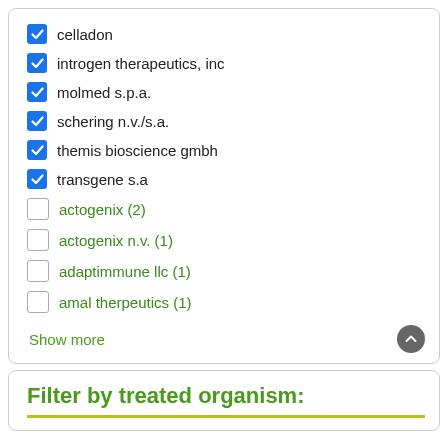celladon (checked)
introgen therapeutics, inc (checked)
molmed s.p.a. (checked)
schering n.v./s.a. (checked)
themis bioscience gmbh (checked)
transgene s.a (checked)
actogenix (2) (unchecked)
actogenix n.v. (1) (unchecked)
adaptimmune llc (1) (unchecked)
amal therpeutics (1) (unchecked)
Show more
Filter by treated organism: